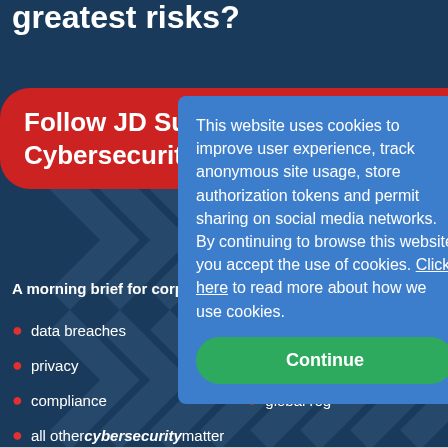greatest risks?
Follow JD Supra's Cybersecurity chann
A morning brief for corporate r
data breaches
security
privacy
risk manag
compliance
global reg
all other cybersecurity matter
This website uses cookies to improve user experience, track anonymous site usage, store authorization tokens and permit sharing on social media networks. By continuing to browse this website you accept the use of cookies. Click here to read more about how we use cookies.
Continue
EXPLORE RELATED CATEGORIES
re